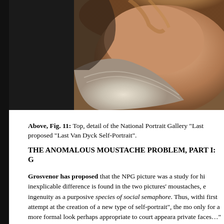[Figure (photo): Detail of a painting showing a neck and collar area of a portrait, warm skin tones with white fabric collar, cropped close-up of what appears to be a classical portrait painting]
Above, Fig. 11: Top, detail of the National Portrait Gallery "Last... proposed "Last Van Dyck Self-Portrait".
THE ANOMALOUS MOUSTACHE PROBLEM, PART I: G...
Grosvenor has proposed that the NPG picture was a study for hi... inexplicable difference is found in the two pictures' moustaches, e... ingenuity as a purposive species of social semaphore. Thus, withi... first attempt at the creation of a new type of self-portrait", the mo... only for a more formal look perhaps appropriate to court appeara... private faces…" Are we to understand, on the sole testimony of th... going about his house and studio and brushed it up to attention w...
While prompting incredulity, such a notion also defies artistic l...